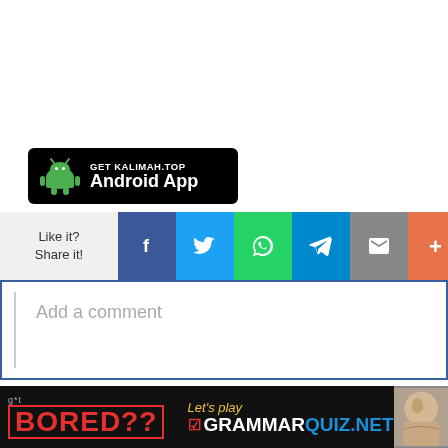[Figure (other): GET KALIMAH.TOP Android App banner with Android robot logo on black background]
[Figure (infographic): Social share bar with Like it? Share it! label and icons for Facebook, Twitter, WhatsApp, Telegram, Email, and More]
Add a comment
lyrics are property and copyright of their owners. lyrics provided for educational purposes and personal use only.
... كلمات شائعة
[Figure (infographic): Got BORED?? Let's play GRAMMARQUIZ.NET advertisement banner at bottom of page]